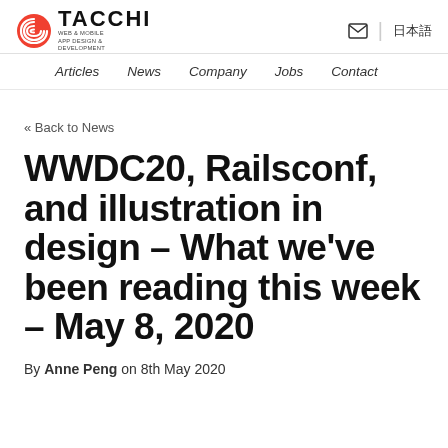[Figure (logo): Tacchi logo with red swirl icon and bold TACCHI text, with tagline WEB & MOBILE APP DESIGN & DEVELOPMENT]
Articles  News  Company  Jobs  Contact
« Back to News
WWDC20, Railsconf, and illustration in design – What we've been reading this week – May 8, 2020
By Anne Peng on 8th May 2020